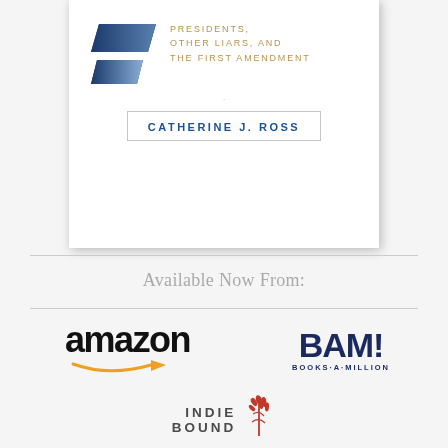[Figure (illustration): Partial book cover showing two diagonal parallelogram shapes in dark navy blue gradient, subtitle text 'PRESIDENTS, OTHER LIARS, AND THE FIRST AMENDMENT' in gold/bronze spaced caps, and author name 'CATHERINE J. ROSS' in a bordered box in blue.]
Available Now From:
[Figure (logo): Amazon logo: bold black 'amazon' text with yellow smile/arrow beneath pointing right]
[Figure (logo): BAM! Books-A-Million logo: bold dark navy 'BAM!' with exclamation mark, 'BOOKS·A·MILLION' in small spaced caps beneath]
[Figure (logo): IndieBound logo: 'INDIE' stacked above 'BOUND' in bold spaced dark gray caps, with a red wheat/grain graphic to the right]